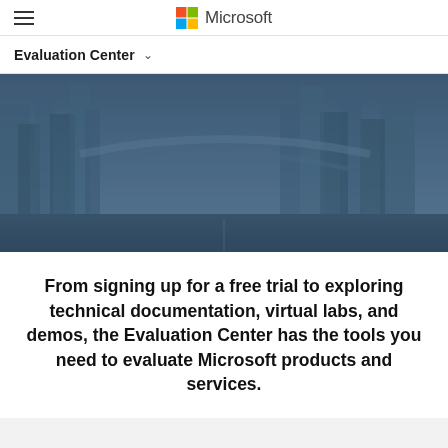Microsoft Evaluation Center
Evaluation Center
[Figure (photo): Dark blue-tinted cityscape/infrastructure panoramic banner image showing an urban road with buildings and overpasses]
From signing up for a free trial to exploring technical documentation, virtual labs, and demos, the Evaluation Center has the tools you need to evaluate Microsoft products and services.